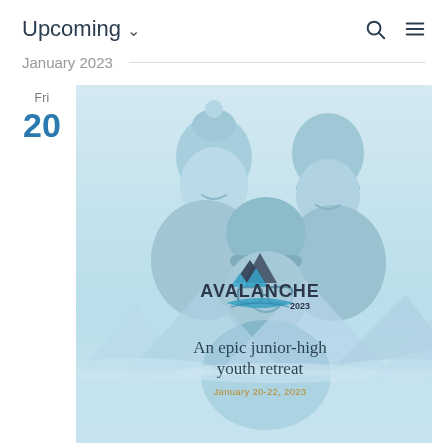Upcoming ∨
January 2023
Fri
20
[Figure (photo): Event card image for Avalanche 2023, a junior-high youth retreat. Shows three smiling young people wearing winter hats in a light blue-tinted photo. Overlaid text reads: AVALANCHE 2023, An epic junior-high youth retreat, January 20-22, 2023.]